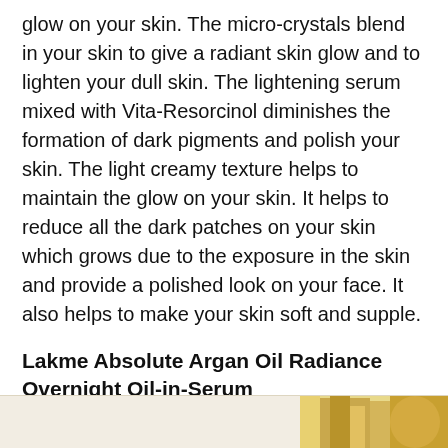glow on your skin. The micro-crystals blend in your skin to give a radiant skin glow and to lighten your dull skin. The lightening serum mixed with Vita-Resorcinol diminishes the formation of dark pigments and polish your skin. The light creamy texture helps to maintain the glow on your skin. It helps to reduce all the dark patches on your skin which grows due to the exposure in the skin and provide a polished look on your face. It also helps to make your skin soft and supple.
Lakme Absolute Argan Oil Radiance Overnight Oil-in-Serum
[Figure (photo): Partial product image visible at bottom right of page, golden/amber colored product packaging]